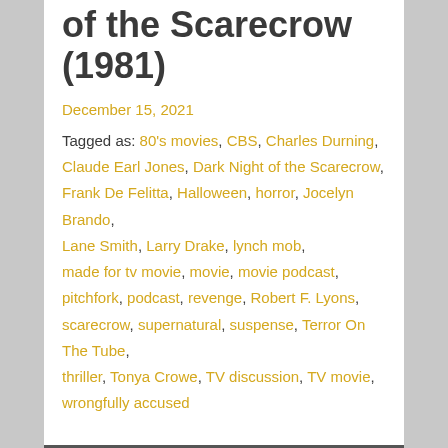of the Scarecrow (1981)
December 15, 2021
Tagged as: 80's movies, CBS, Charles Durning, Claude Earl Jones, Dark Night of the Scarecrow, Frank De Felitta, Halloween, horror, Jocelyn Brando, Lane Smith, Larry Drake, lynch mob, made for tv movie, movie, movie podcast, pitchfork, podcast, revenge, Robert F. Lyons, scarecrow, supernatural, suspense, Terror On The Tube, thriller, Tonya Crowe, TV discussion, TV movie, wrongfully accused